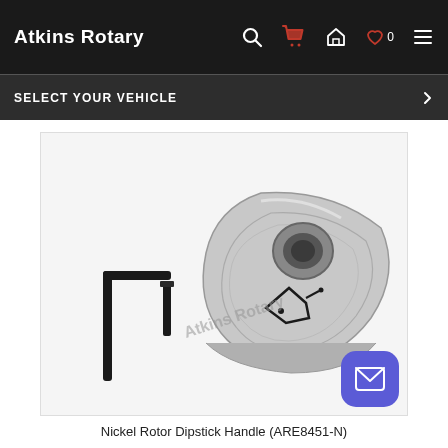Atkins Rotary
SELECT YOUR VEHICLE
[Figure (photo): Product photo showing a nickel-plated rotor dipstick handle (triangular rotary engine rotor shaped metal piece with etched oil can symbol), an allen/hex key, and a small screw, on a white background. Watermark reads 'Atkins Rotary'.]
Nickel Rotor Dipstick Handle (ARE8451-N)